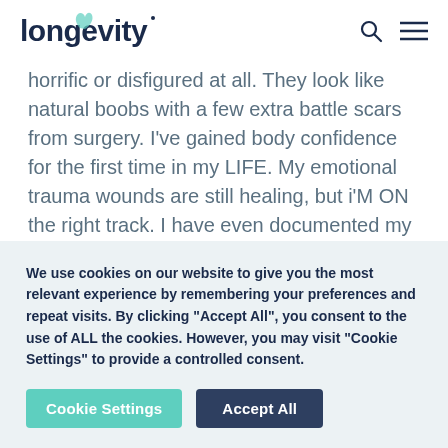longevity
horrific or disfigured at all.  They look like natural boobs with a few extra battle scars from surgery. I've gained body confidence for the first time in my LIFE. My emotional trauma wounds are still healing, but i'M ON the right track. I have even documented my
We use cookies on our website to give you the most relevant experience by remembering your preferences and repeat visits. By clicking "Accept All", you consent to the use of ALL the cookies. However, you may visit "Cookie Settings" to provide a controlled consent.